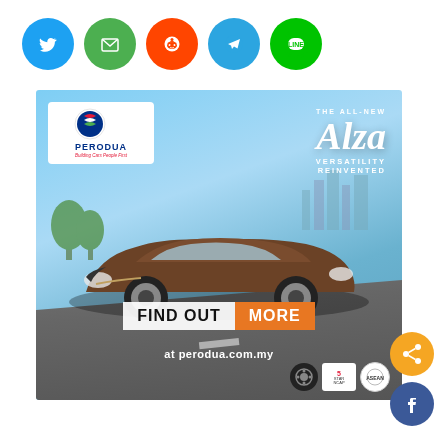[Figure (infographic): Row of five social media sharing icons: Twitter (blue circle), Email (green circle), Reddit (orange circle), Telegram (blue circle), LINE (white/green circle)]
[Figure (photo): Perodua Alza advertisement banner showing a brown MPV car on a road. Perodua logo top-left, 'THE ALL-NEW Alza VERSATILITY REINVENTED' text top-right. Bottom has 'FIND OUT MORE at perodua.com.my' call to action with certification badges.]
[Figure (infographic): Two small social icons bottom-right: share icon (gold/orange circle) and Facebook icon (blue circle)]